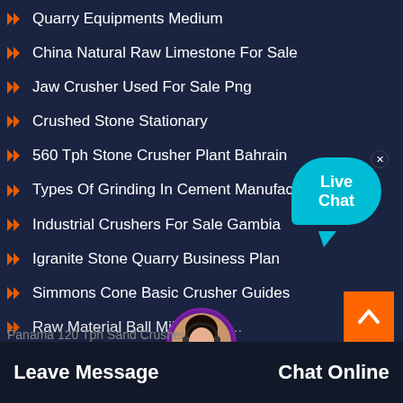Quarry Equipments Medium
China Natural Raw Limestone For Sale
Jaw Crusher Used For Sale Png
Crushed Stone Stationary
560 Tph Stone Crusher Plant Bahrain
Types Of Grinding In Cement Manufacture
Industrial Crushers For Sale Gambia
Igranite Stone Quarry Business Plan
Simmons Cone Basic Crusher Guides
Raw Material Ball Mill With Ic
Panama 120 Tph Sand Crusher
[Figure (illustration): Live Chat speech bubble icon in cyan/teal color with 'Live Chat' text and a close X button]
[Figure (illustration): Orange back-to-top button with upward chevron arrow]
[Figure (illustration): Customer service avatar - woman with headset in circular frame]
Leave Message   Chat Online